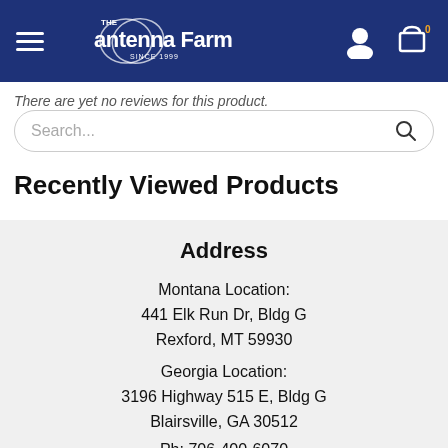The Antenna Farm - Since 1999
There are yet no reviews for this product.
Search...
Recently Viewed Products
Address
Montana Location:
441 Elk Run Dr, Bldg G
Rexford, MT 59930
Georgia Location:
3196 Highway 515 E, Bldg G
Blairsville, GA 30512
Ph: 706-400-6070